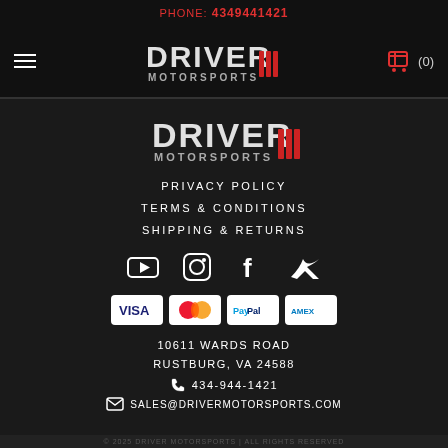PHONE: 4349441421
[Figure (logo): Driver Motorsports logo in navigation bar]
[Figure (logo): Driver Motorsports logo in footer area]
PRIVACY POLICY
TERMS & CONDITIONS
SHIPPING & RETURNS
[Figure (infographic): Social media icons: YouTube, Instagram, Facebook, Twitter]
[Figure (infographic): Payment method icons: Visa, Mastercard, PayPal, Amex]
10611 WARDS ROAD
RUSTBURG, VA 24588
434-944-1421
SALES@DRIVERMOTORSPORTS.COM
© 2025 DRIVER MOTORSPORTS | ALL RIGHTS RESERVED